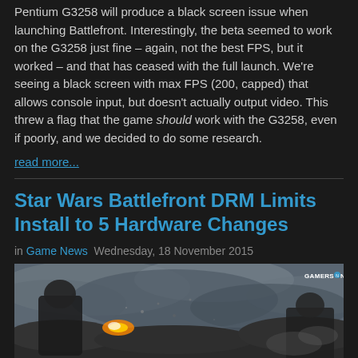Pentium G3258 will produce a black screen issue when launching Battlefront. Interestingly, the beta seemed to work on the G3258 just fine – again, not the best FPS, but it worked – and that has ceased with the full launch. We're seeing a black screen with max FPS (200, capped) that allows console input, but doesn't actually output video. This threw a flag that the game should work with the G3258, even if poorly, and we decided to do some research.
read more...
Star Wars Battlefront DRM Limits Install to 5 Hardware Changes
in Game News  Wednesday, 18 November 2015
[Figure (photo): Star Wars Battlefront game screenshot showing stormtrooper in battle with Gamers Nexus watermark in top right corner]